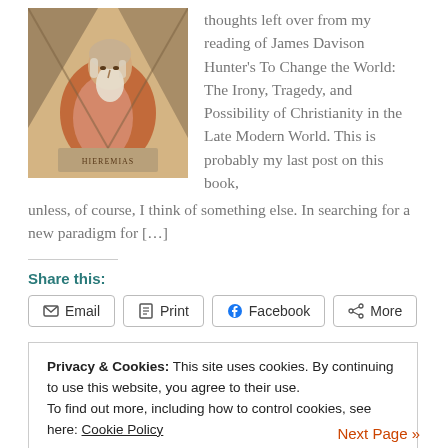[Figure (illustration): A Renaissance-style painting of a seated bearded elderly man in robes (likely a Michelangelo fresco figure, resembling a prophet). The figure wears orange and pink robes and is shown in a triangular architectural framing. A label at the bottom reads 'HIEREMIAS'.]
thoughts left over from my reading of James Davison Hunter's To Change the World: The Irony, Tragedy, and Possibility of Christianity in the Late Modern World. This is probably my last post on this book, unless, of course, I think of something else. In searching for a new paradigm for […]
Share this:
Email  Print  Facebook  More
Privacy & Cookies: This site uses cookies. By continuing to use this website, you agree to their use.
To find out more, including how to control cookies, see here: Cookie Policy
Close and accept
Next Page »